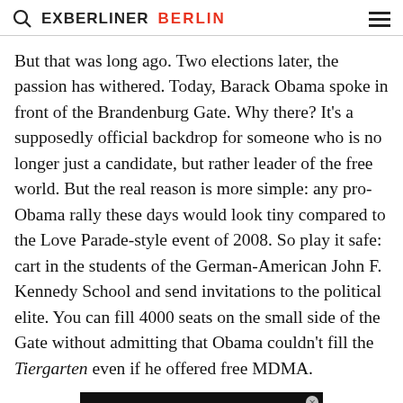EXBERLINER BERLIN
But that was long ago. Two elections later, the passion has withered. Today, Barack Obama spoke in front of the Brandenburg Gate. Why there? It's a supposedly official backdrop for someone who is no longer just a candidate, but rather leader of the free world. But the real reason is more simple: any pro-Obama rally these days would look tiny compared to the Love Parade-style event of 2008. So play it safe: cart in the students of the German-American John F. Kennedy School and send invitations to the political elite. You can fill 4000 seats on the small side of the Gate without admitting that Obama couldn't fill the Tiergarten even if he offered free MDMA.
[Figure (screenshot): Partial advertisement banner with black and yellow background and white text reading 'The best']